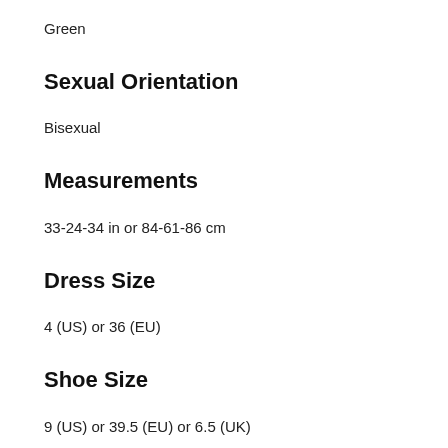Green
Sexual Orientation
Bisexual
Measurements
33-24-34 in or 84-61-86 cm
Dress Size
4 (US) or 36 (EU)
Shoe Size
9 (US) or 39.5 (EU) or 6.5 (UK)